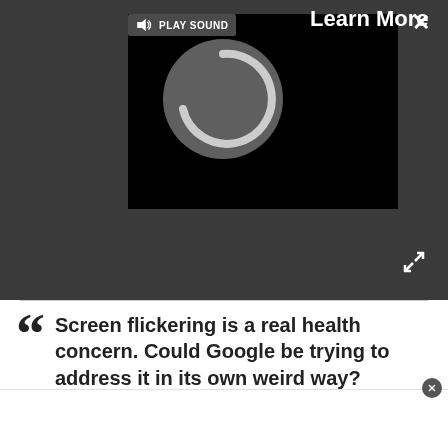[Figure (screenshot): Dark gray UI header bar with an embedded black video player showing a loading spinner. A 'PLAY SOUND' button with a speaker icon is in the top-left corner of the player. 'Learn More' text appears to the right of the player. An X close button is in the top-right of the bar. A diagonal expand/fullscreen arrow icon is at the bottom-right of the video area.]
Screen flickering is a real health concern. Could Google be trying to address it in its own weird way?
There is a thing known as CFF (Critical Flicker Fusion) and it's a medical term that deals with how our eyes see flickering lights and the health effects from them. This is important in three key areas: lighting, display